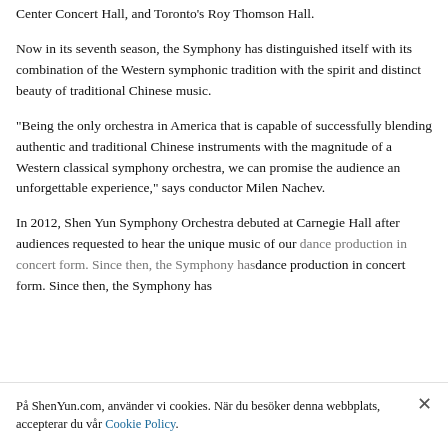Center Concert Hall, and Toronto's Roy Thomson Hall.
Now in its seventh season, the Symphony has distinguished itself with its combination of the Western symphonic tradition with the spirit and distinct beauty of traditional Chinese music.
“Being the only orchestra in America that is capable of successfully blending authentic and traditional Chinese instruments with the magnitude of a Western classical symphony orchestra, we can promise the audience an unforgettable experience,” says conductor Milen Nachev.
In 2012, Shen Yun Symphony Orchestra debuted at Carnegie Hall after audiences requested to hear the unique music of our dance production in concert form. Since then, the Symphony has
På ShenYun.com, använder vi cookies. När du besöker denna webbplats, accepterar du vår Cookie Policy.